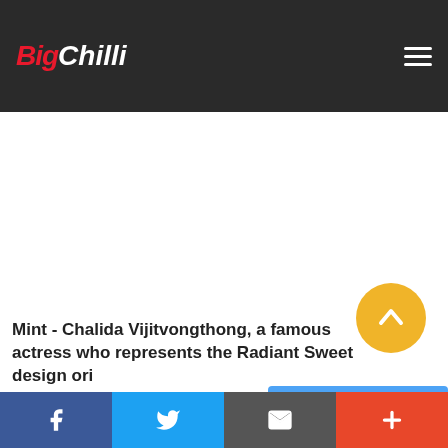Big Chilli
[Figure (other): Large white/blank content area - advertisement or image placeholder]
[Figure (other): Yellow circular scroll-to-top button with upward chevron arrow]
Mint - Chalida Vijitvongthong, a famous actress who represents the Radiant Sweet design ori...
Facebook | Twitter | Email | Plus social share buttons